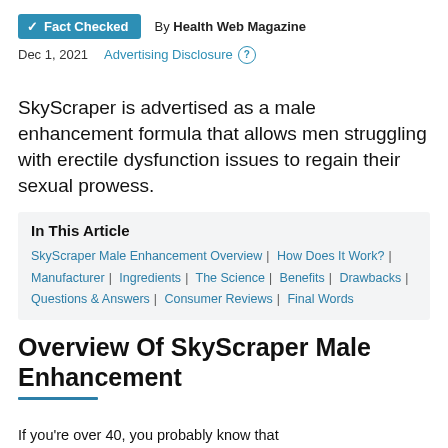✓ Fact Checked  By Health Web Magazine
Dec 1, 2021  Advertising Disclosure ?
SkyScraper is advertised as a male enhancement formula that allows men struggling with erectile dysfunction issues to regain their sexual prowess.
In This Article
SkyScraper Male Enhancement Overview | How Does It Work? | Manufacturer | Ingredients | The Science | Benefits | Drawbacks | Questions & Answers | Consumer Reviews | Final Words
Overview Of SkyScraper Male Enhancement
If you're over 40, you probably know that